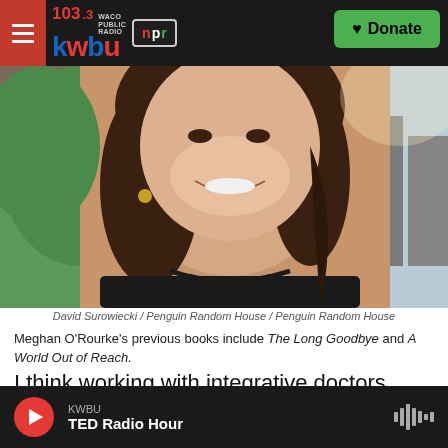103.3 KWBU Waco Public Radio | NPR | Donate
[Figure (photo): Smiling woman with dark hair and bead necklace; background shows greenery and industrial/city skyline]
David Surowiecki / Penguin Random House / Penguin Random House
Meghan O'Rourke's previous books include The Long Goodbye and A World Out of Reach.
I think working with integrative doctors helped me feel that I did have a partner in my health care. I'm a very evidence-based person, so one always has questions about some of the aspects of medicine
KWBU | TED Radio Hour